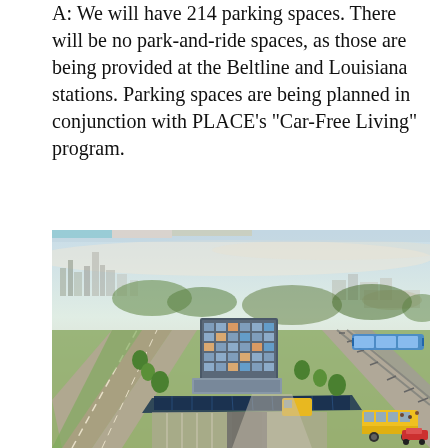A: We will have 214 parking spaces. There will be no park-and-ride spaces, as those are being provided at the Beltline and Louisiana stations. Parking spaces are being planned in conjunction with PLACE's "Car-Free Living" program.
[Figure (illustration): Aerial rendering of a transit-oriented development showing a multi-story mixed-use building with colorful facade, a transit station canopy structure with solar panels, highway/roadways, light rail train, school bus, green landscaping, and city skyline in the background.]